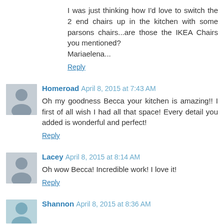I was just thinking how I'd love to switch the 2 end chairs up in the kitchen with some parsons chairs...are those the IKEA Chairs you mentioned?
Mariaelena...
Reply
Homeroad  April 8, 2015 at 7:43 AM
Oh my goodness Becca your kitchen is amazing!! I first of all wish I had all that space! Every detail you added is wonderful and perfect!
Reply
Lacey  April 8, 2015 at 8:14 AM
Oh wow Becca! Incredible work! I love it!
Reply
Shannon  April 8, 2015 at 8:36 AM